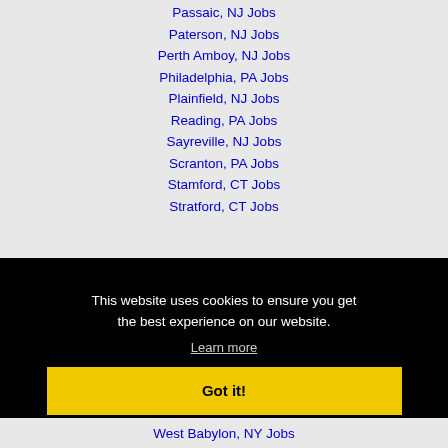Passaic, NJ Jobs
Paterson, NJ Jobs
Perth Amboy, NJ Jobs
Philadelphia, PA Jobs
Plainfield, NJ Jobs
Reading, PA Jobs
Sayreville, NJ Jobs
Scranton, PA Jobs
Stamford, CT Jobs
Stratford, CT Jobs
This website uses cookies to ensure you get the best experience on our website.
Learn more
Got it!
West Babylon, NY Jobs